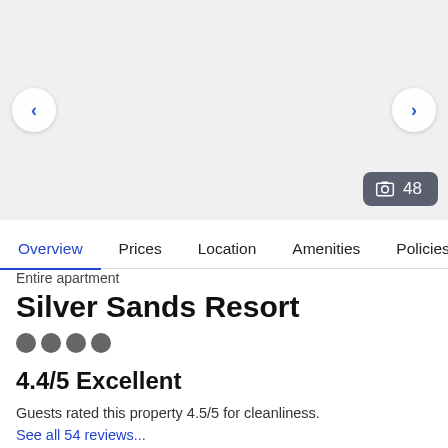[Figure (photo): Hotel photo carousel with left/right navigation arrows and a photo count badge showing 48 photos]
Overview | Prices | Location | Amenities | Policies | Re...
Entire apartment
Silver Sands Resort
4.4/5 Excellent
Guests rated this property 4.5/5 for cleanliness.
See all 54 reviews...